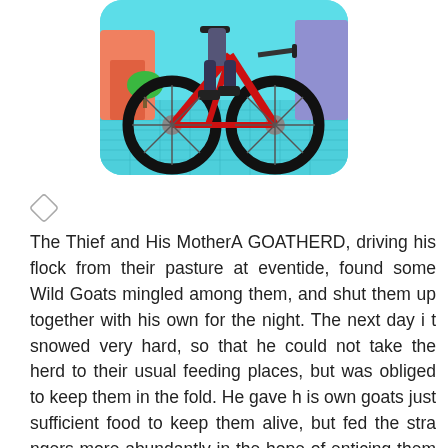[Figure (illustration): A 3D rendered image of a person riding a red bicycle, shown from the waist down, on a teal/cyan checkered surface with colorful stylized background elements.]
[Figure (other): Small diamond/tag icon]
The Thief and His MotherA GOATHERD, driving his flock from their pasture at eventide, found some Wild Goats mingled among them, and shut them up together with his own for the night. The next day it snowed very hard, so that he could not take the herd to their usual feeding places, but was obliged to keep them in the fold. He gave his own goats just sufficient food to keep them alive, but fed the strangers more abundantly in the hope of enticing them to stay with him and of making them his own. When the thaw set in, he led them all out to feed, and the Wild Goats scampered away as fast as they